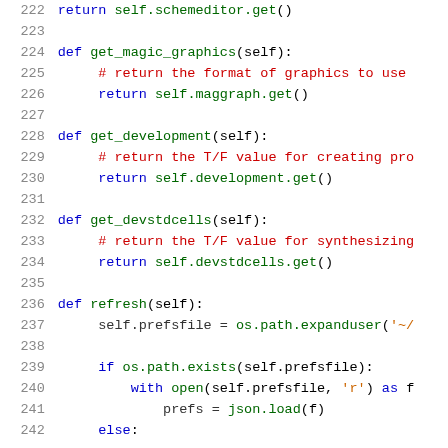[Figure (screenshot): Python source code listing, lines 222-242, showing class methods: get_magic_graphics, get_development, get_devstdcells, refresh, with syntax highlighting in blue, red, green, and orange on white background.]